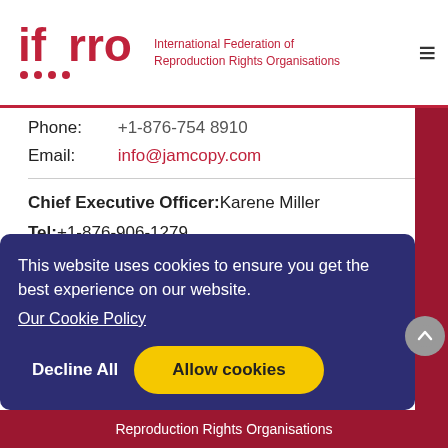IFRRO – International Federation of Reproduction Rights Organisations
Phone: +1-876-754 8910
Email: info@jamcopy.com
Chief Executive Officer: Karene Miller
Tel: +1-876-906-1279
Email: ceo@jamcopy.com
This website uses cookies to ensure you get the best experience on our website. Our Cookie Policy
Decline All   Allow cookies
Reproduction Rights Organisations